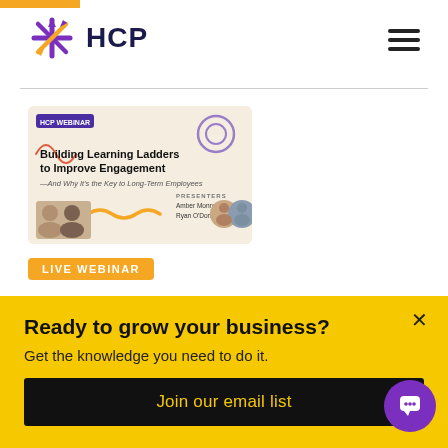[Figure (logo): HCP logo with purple and yellow asterisk/star icon and bold dark navy HCP text]
[Figure (illustration): Webinar promotional image for 'Building Learning Ladders to Improve Engagement — And Why It's the Key to Long-Term Employees' with presenter photos of Amber Monroe and Ryan O'Donnell on a cream/beige background with decorative swirl and wave elements]
LIVE WEBINAR
Buildin...
Ready to grow your business?
Get the knowledge you need to do it.
Join our email list